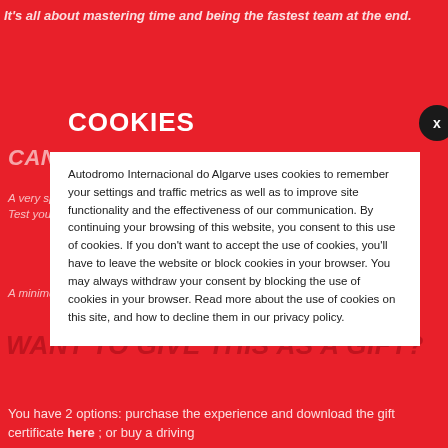It's all about mastering time and being the fastest team at the end.
CAN YOU HANDLE THE PRESSURE?
A very special go-kart race that can endure up to 3 hours. Test yourself in this tense race. The fastest team can win the one. A minimum of 10 go-karts is required.
WANT TO GIVE THIS AS A GIFT?
You have 2 options: purchase the experience and download the gift certificate here ; or buy a driving
COOKIES
Autodromo Internacional do Algarve uses cookies to remember your settings and traffic metrics as well as to improve site functionality and the effectiveness of our communication. By continuing your browsing of this website, you consent to this use of cookies. If you don't want to accept the use of cookies, you'll have to leave the website or block cookies in your browser. You may always withdraw your consent by blocking the use of cookies in your browser. Read more about the use of cookies on this site, and how to decline them in our privacy policy.